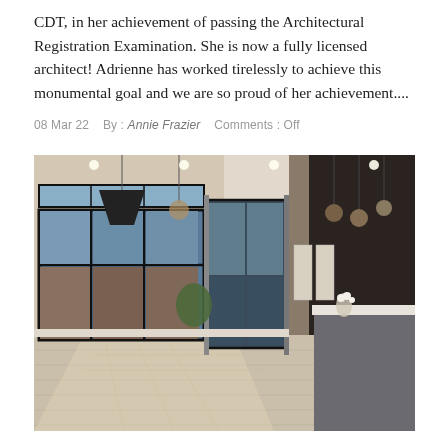CDT, in her achievement of passing the Architectural Registration Examination. She is now a fully licensed architect! Adrienne has worked tirelessly to achieve this monumental goal and we are so proud of her achievement....
08 Mar 22   By : Annie Frazier   Comments : Off
[Figure (photo): Interior photo of a modern open-plan lobby or reception area with large black-framed floor-to-ceiling windows on the left showing a view outside, a sliding glass door in the center, hanging pendant lights, hardwood floors with sunlight pattern, and a reception desk/counter on the right side.]